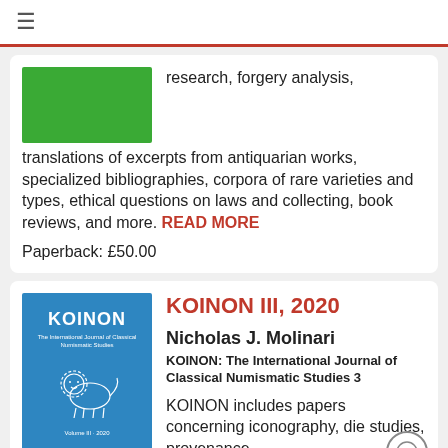≡
[Figure (illustration): Green book cover thumbnail]
research, forgery analysis, translations of excerpts from antiquarian works, specialized bibliographies, corpora of rare varieties and types, ethical questions on laws and collecting, book reviews, and more. READ MORE
Paperback: £50.00
KOINON III, 2020
Nicholas J. Molinari
KOINON: The International Journal of Classical Numismatic Studies 3
KOINON includes papers concerning iconography, die studies, provenance
[Figure (illustration): Blue KOINON journal cover with lion illustration]